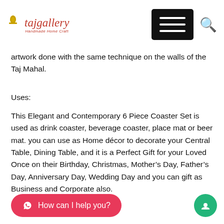tajgallery — navigation header with hamburger menu and search icon
artwork done with the same technique on the walls of the Taj Mahal.
Uses:
This Elegant and Contemporary 6 Piece Coaster Set is used as drink coaster, beverage coaster, place mat or beer mat. you can use as Home décor to decorate your Central Table, Dining Table, and it is a Perfect Gift for your Loved Once on their Birthday, Christmas, Mother's Day, Father's Day, Anniversary Day, Wedding Day and you can gift as Business and Corporate also.